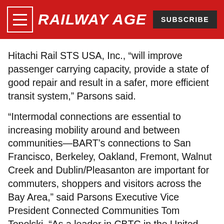RAILWAY AGE | SUBSCRIBE
Hitachi Rail STS USA, Inc., “will improve passenger carrying capacity, provide a state of good repair and result in a safer, more efficient transit system,” Parsons said.
“Intermodal connections are essential to increasing mobility around and between communities—BART’s connections to San Francisco, Berkeley, Oakland, Fremont, Walnut Creek and Dublin/Pleasanton are important for commuters, shoppers and visitors across the Bay Area,” said Parsons Executive Vice President Connected Communities Tom Topolski. “As a leader in CBTC in the United States, we will apply our unique expertise to ensure the success and leadership across the BART